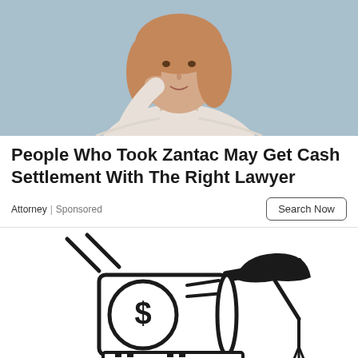[Figure (photo): Photo of a woman with red/light brown hair wearing a white turtleneck sweater, hand near her face, against a light blue/grey background]
People Who Took Zantac May Get Cash Settlement With The Right Lawyer
Attorney | Sponsored
[Figure (illustration): Line-art illustration of a rolled up scroll of money with a dollar sign coin, stacked on books/platforms, with a graduation cap/mortarboard on top right, and partial icons at bottom]